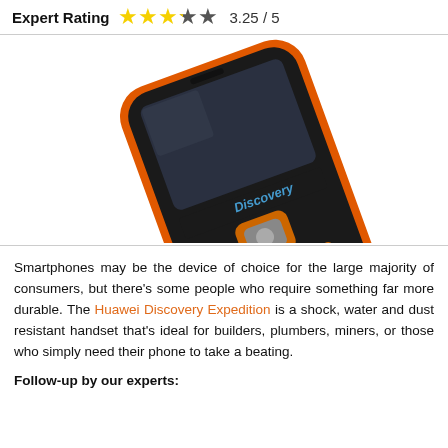Expert Rating 3.25 / 5
[Figure (photo): Huawei Discovery Expedition rugged mobile phone, black and orange, shown at an angle displaying the keypad and screen with Discovery Expedition branding]
Smartphones may be the device of choice for the large majority of consumers, but there's some people who require something far more durable. The Huawei Discovery Expedition is a shock, water and dust resistant handset that's ideal for builders, plumbers, miners, or those who simply need their phone to take a beating.
Follow-up by our experts: